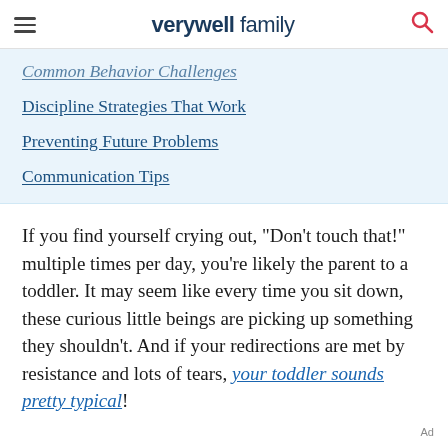verywell family
Common Behavior Challenges
Discipline Strategies That Work
Preventing Future Problems
Communication Tips
If you find yourself crying out, "Don't touch that!" multiple times per day, you're likely the parent to a toddler. It may seem like every time you sit down, these curious little beings are picking up something they shouldn't. And if your redirections are met by resistance and lots of tears, your toddler sounds pretty typical!